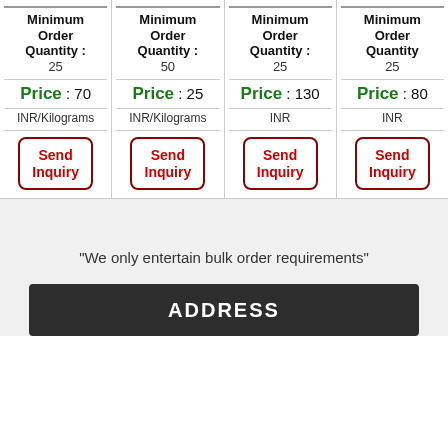| Col1 | Col2 | Col3 | Col4 |
| --- | --- | --- | --- |
| Minimum Order Quantity : 25 | Minimum Order Quantity : 50 | Minimum Order Quantity : 25 | Minimum Order Quantity : 25 |
| Price : 70 INR/Kilograms | Price : 25 INR/Kilograms | Price : 130 INR | Price : 80 INR |
| Send Inquiry | Send Inquiry | Send Inquiry | Send Inquiry |
"We only entertain bulk order requirements"
ADDRESS